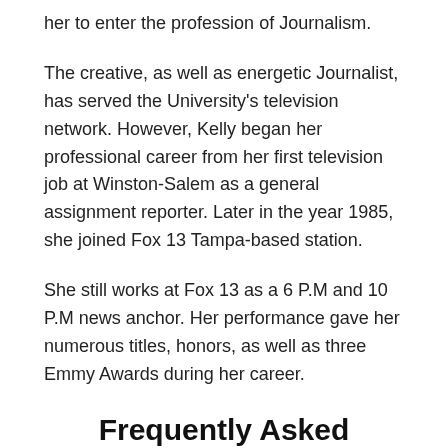her to enter the profession of Journalism.
The creative, as well as energetic Journalist, has served the University's television network. However, Kelly began her professional career from her first television job at Winston-Salem as a general assignment reporter. Later in the year 1985, she joined Fox 13 Tampa-based station.
She still works at Fox 13 as a 6 P.M and 10 P.M news anchor. Her performance gave her numerous titles, honors, as well as three Emmy Awards during her career.
Frequently Asked Questions About Kelly Di...